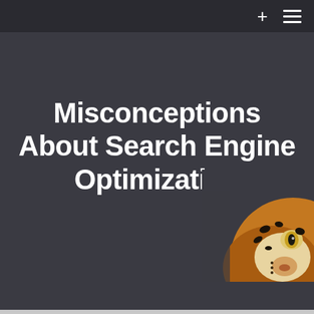+ ☰
Misconceptions About Search Engine Optimization
[Figure (photo): Partial close-up of a leopard or tiger face visible in the bottom-right corner of the page]